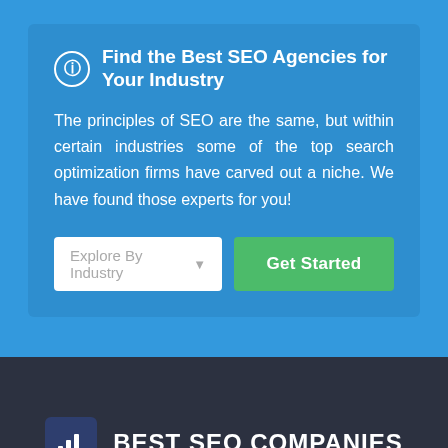Find the Best SEO Agencies for Your Industry
The principles of SEO are the same, but within certain industries some of the top search optimization firms have carved out a niche. We have found those experts for you!
[Figure (screenshot): Dropdown input labeled 'Explore By Industry' with a green 'Get Started' button]
BEST SEO COMPANIES
BestSEOCompanies.com was created to help businesses make better choices when selecting search engine